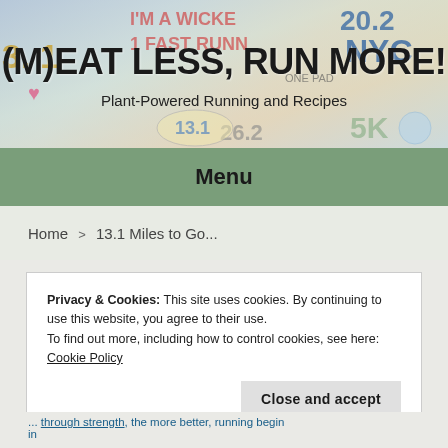[Figure (photo): Blog header banner with running stickers/decals collage background showing various race distances like 13.1, 26.2, 5K, NYC marathon stickers]
(M)EAT LESS, RUN MORE!
Plant-Powered Running and Recipes
Menu
Home > 13.1 Miles to Go...
Privacy & Cookies: This site uses cookies. By continuing to use this website, you agree to their use.
To find out more, including how to control cookies, see here: Cookie Policy
Close and accept
... through strength, the more better, running begin in